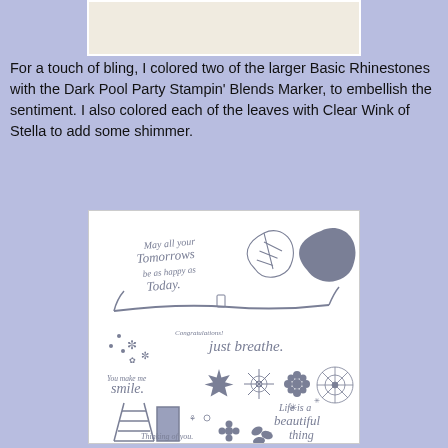[Figure (photo): Cropped beige/cream colored card panel photo at top center]
For a touch of bling, I colored two of the larger Basic Rhinestones with the Dark Pool Party Stampin' Blends Marker, to embellish the sentiment. I also colored each of the leaves with Clear Wink of Stella to add some shimmer.
[Figure (illustration): Stamp set sheet showing various stamps: 'May all your tomorrows be as happy as today.' with leaf stamps, branch, cup, snowflakes, flowers, Congratulations, 'just breathe.', 'You make me smile.', beach chair, 'Thinking of you.', 'Life is a beautiful thing']